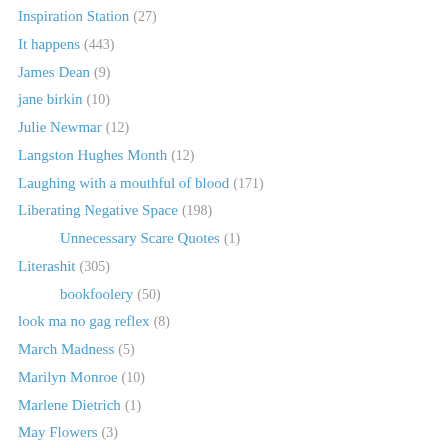Inspiration Station (27)
It happens (443)
James Dean (9)
jane birkin (10)
Julie Newmar (12)
Langston Hughes Month (12)
Laughing with a mouthful of blood (171)
Liberating Negative Space (198)
Unnecessary Scare Quotes (1)
Literashit (305)
bookfoolery (50)
look ma no gag reflex (8)
March Madness (5)
Marilyn Monroe (10)
Marlene Dietrich (1)
May Flowers (3)
Mean Girls Monday (27)
Men aren't attracted to a girl in glasses (34)
Milla Jovovich (6)